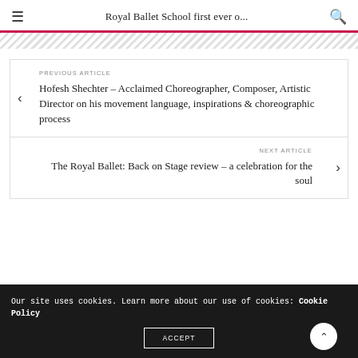Royal Ballet School first ever o...
PREVIOUS ARTICLE
Hofesh Shechter – Acclaimed Choreographer, Composer, Artistic Director on his movement language, inspirations & choreographic process
NEXT ARTICLE
The Royal Ballet: Back on Stage review – a celebration for the soul
Our site uses cookies. Learn more about our use of cookies: Cookie Policy